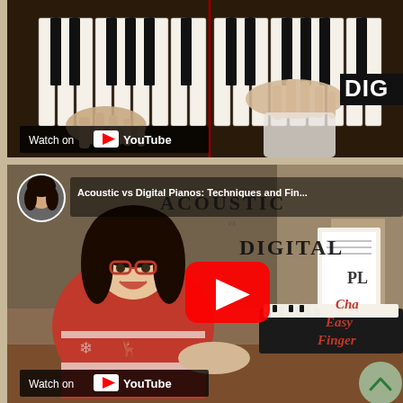[Figure (screenshot): Top YouTube embed showing hands playing piano keys on both acoustic and digital piano side-by-side, with 'DIG' label visible on right side and 'Watch on YouTube' badge at bottom left]
[Figure (screenshot): Bottom YouTube embed showing video titled 'Acoustic vs Digital Pianos: Techniques and Fin...' with channel avatar of a woman, main image of woman in Christmas sweater with red glasses sitting at digital piano, YouTube play button overlay, text 'ACOUSTIC vs DIGITAL PL... Cha... Easy... Finger...' on right side, 'Watch on YouTube' badge at bottom left, and scroll-up button at bottom right]